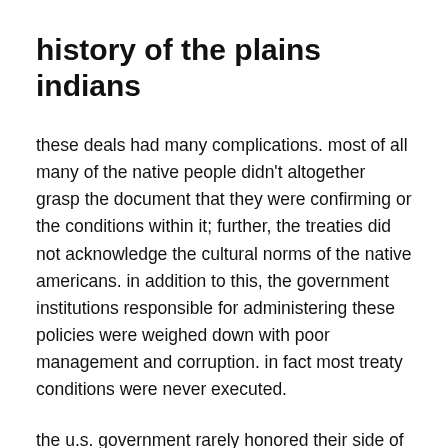history of the plains indians
these deals had many complications. most of all many of the native people didn't altogether grasp the document that they were confirming or the conditions within it; further, the treaties did not acknowledge the cultural norms of the native americans. in addition to this, the government institutions responsible for administering these policies were weighed down with poor management and corruption. in fact most treaty conditions were never executed.
the u.s. government rarely honored their side of the agreements even when the native americans went quietly to their reservations. unethical bureau agents frequently sold the supplies that